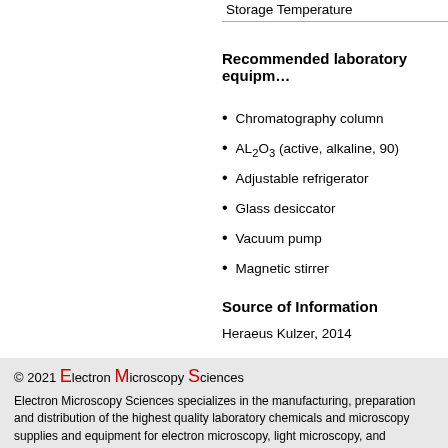Storage Temperature
Recommended laboratory equipm…
Chromatography column
AL2O3 (active, alkaline, 90)
Adjustable refrigerator
Glass desiccator
Vacuum pump
Magnetic stirrer
Source of Information
Heraeus Kulzer, 2014
Product Information
Technovit® 9100 Methyl Methacrylate
© 2021 Electron Microscopy Sciences
Electron Microscopy Sciences specializes in the manufacturing, preparation and distribution of the highest quality laboratory chemicals and microscopy supplies and equipment for electron microscopy, light microscopy, and histology.